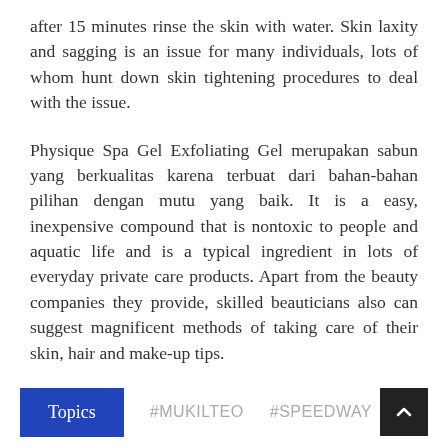after 15 minutes rinse the skin with water. Skin laxity and sagging is an issue for many individuals, lots of whom hunt down skin tightening procedures to deal with the issue.
Physique Spa Gel Exfoliating Gel merupakan sabun yang berkualitas karena terbuat dari bahan-bahan pilihan dengan mutu yang baik. It is a easy, inexpensive compound that is nontoxic to people and aquatic life and is a typical ingredient in lots of everyday private care products. Apart from the beauty companies they provide, skilled beauticians also can suggest magnificent methods of taking care of their skin, hair and make-up tips.
Topics  #MUKILTEO  #SPEEDWAY